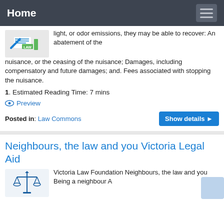Home
light, or odor emissions, they may be able to recover: An abatement of the nuisance, or the ceasing of the nuisance; Damages, including compensatory and future damages; and. Fees associated with stopping the nuisance.
1. Estimated Reading Time: 7 mins
Preview
Posted in: Law Commons
Neighbours, the law and you Victoria Legal Aid
Victoria Law Foundation Neighbours, the law and you Being a neighbour A